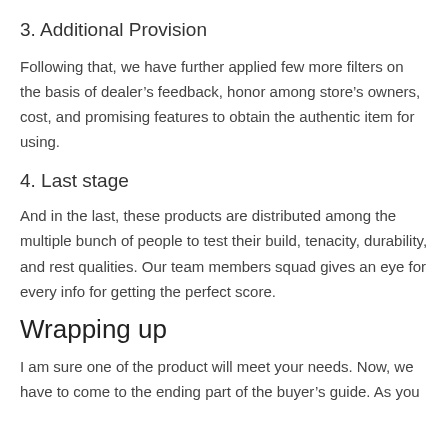3. Additional Provision
Following that, we have further applied few more filters on the basis of dealer’s feedback, honor among store’s owners, cost, and promising features to obtain the authentic item for using.
4. Last stage
And in the last, these products are distributed among the multiple bunch of people to test their build, tenacity, durability, and rest qualities. Our team members squad gives an eye for every info for getting the perfect score.
Wrapping up
I am sure one of the product will meet your needs. Now, we have to come to the ending part of the buyer’s guide. As you